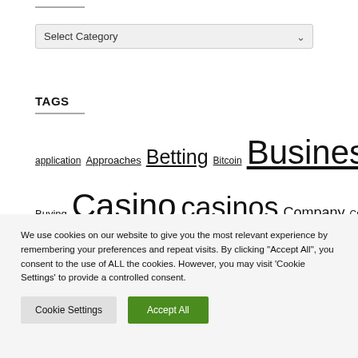[Figure (other): Select Category dropdown UI element]
TAGS
application Approaches Betting Bitcoin Business Buying Casino casinos Company Crypto
We use cookies on our website to give you the most relevant experience by remembering your preferences and repeat visits. By clicking "Accept All", you consent to the use of ALL the cookies. However, you may visit 'Cookie Settings' to provide a controlled consent.
Cookie Settings   Accept All